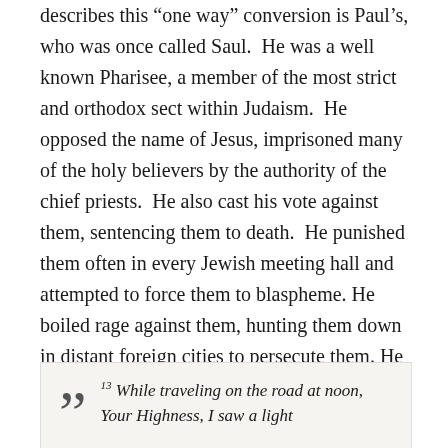describes this “one way” conversion is Paul’s, who was once called Saul. He was a well known Pharisee, a member of the most strict and orthodox sect within Judaism. He opposed the name of Jesus, imprisoned many of the holy believers by the authority of the chief priests. He also cast his vote against them, sentencing them to death. He punished them often in every Jewish meeting hall and attempted to force them to blaspheme. He boiled rage against them, hunting them down in distant foreign cities to persecute them. He was authorized by the chief priests until his defining day and designated moment of encounter with Jesus Christ.
13 While traveling on the road at noon, Your Highness, I saw a light